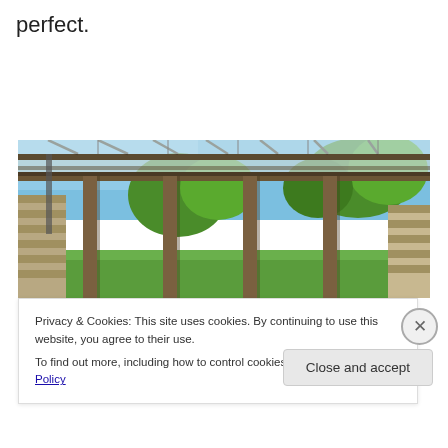perfect.
[Figure (photo): Outdoor garden pergola with wooden posts and transparent polycarbonate roof panels, stone wall on the left, lush green trees and garden in the background under a blue sky.]
Privacy & Cookies: This site uses cookies. By continuing to use this website, you agree to their use.
To find out more, including how to control cookies, see here: Cookie Policy
Close and accept